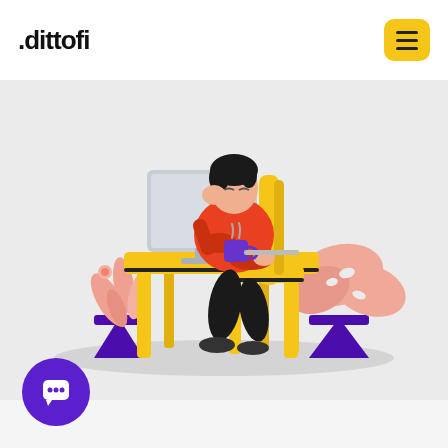[Figure (logo): dittofi logo text with dot prefix in black on white header bar]
[Figure (illustration): Illustration of a person in red shirt sitting in a yellow chair at a yellow desk, working on a computer monitor, with a purple coffee mug on the desk. Two potted plants with pink leaves in purple pots are on either side. Background is light grey. The person looks tired, resting head on hand.]
[Figure (other): Purple circular chat/support button with white speech bubble icon in bottom-left corner]